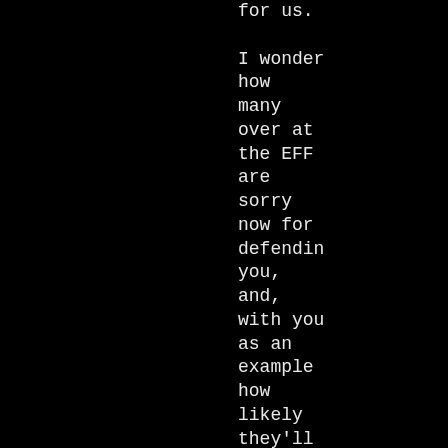for us.

I wonder
how
many
over at
the EFF
are
sorry
now for
defendin
you,
and,
with you
as an
example
how
likely
they'll
be to
defend
someone
else's